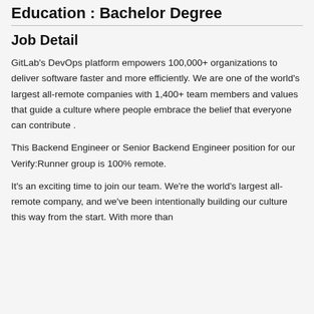Education : Bachelor Degree
Job Detail
GitLab’s DevOps platform empowers 100,000+ organizations to deliver software faster and more efficiently. We are one of the world’s largest all-remote companies with 1,400+ team members and values that guide a culture where people embrace the belief that everyone can contribute .
This Backend Engineer or Senior Backend Engineer position for our Verify:Runner group is 100% remote.
It’s an exciting time to join our team. We're the world’s largest all-remote company, and we’ve been intentionally building our culture this way from the start. With more than